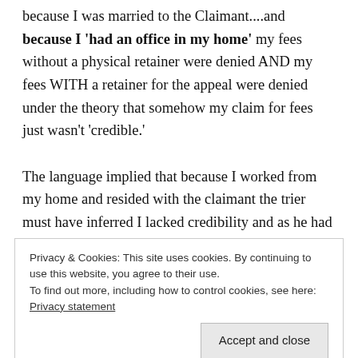because I was married to the Claimant....and because I 'had an office in my home' my fees without a physical retainer were denied AND my fees WITH a retainer for the appeal were denied under the theory that somehow my claim for fees just wasn't 'credible.'
The language implied that because I worked from my home and resided with the claimant the trier must have inferred I lacked credibility and as he had absolutely discretion to award fees, his
Privacy & Cookies: This site uses cookies. By continuing to use this website, you agree to their use.
To find out more, including how to control cookies, see here: Privacy statement
Accept and close